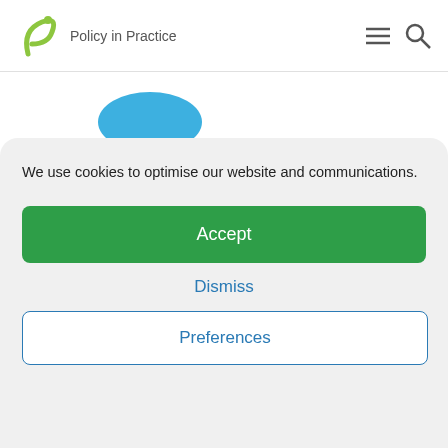[Figure (logo): Policy in Practice logo with green swoosh and text]
[Figure (illustration): Decorative icons: blue semicircle at top, dark green letter A shapes and teal triangle and vertical bar and dark green arc]
We use cookies to optimise our website and communications.
Accept
Dismiss
Preferences